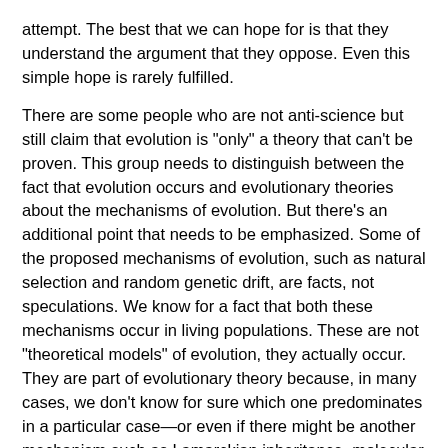attempt. The best that we can hope for is that they understand the argument that they oppose. Even this simple hope is rarely fulfilled.
There are some people who are not anti-science but still claim that evolution is "only" a theory that can't be proven. This group needs to distinguish between the fact that evolution occurs and evolutionary theories about the mechanisms of evolution. But there's an additional point that needs to be emphasized. Some of the proposed mechanisms of evolution, such as natural selection and random genetic drift, are facts, not speculations. We know for a fact that both these mechanisms occur in living populations. These are not "theoretical models" of evolution, they actually occur. They are part of evolutionary theory because, in many cases, we don't know for sure which one predominates in a particular case—or even if there might be another mechanism such as Lamarckian inheritance, molecular drive, or mutationism.
Fact of Evolution